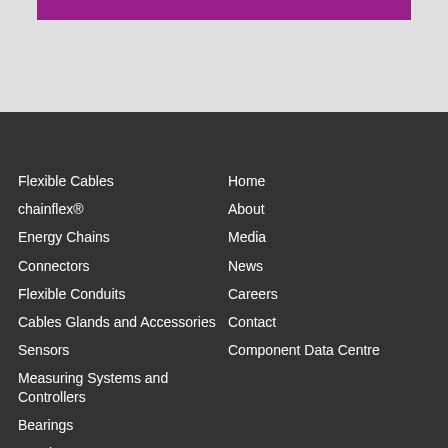[Figure (other): Purple bar at top of page on grey background]
Flexible Cables
chainflex®
Energy Chains
Connectors
Flexible Conduits
Cables Glands and Accessories
Sensors
Measuring Systems and Controllers
Bearings
Gearboxes
Linear Units
Home
About
Media
News
Careers
Contact
Component Data Centre